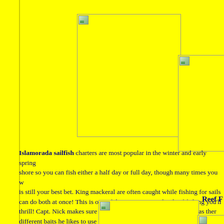[Figure (photo): Large broken image placeholder box, top left area]
[Figure (photo): Wide broken image placeholder box, top right center]
[Figure (photo): Partially visible broken image placeholder, far right]
Islamorada sailfish charters are most popular in the winter and early spring. Sailfish are found off shore so you can fish either a half day or full day, though many times you will... is still your best bet. King mackeral are often caught while fishing for sailsf... can do both at once! This is one of the most exciting kinds of fishing you'll ... thrill! Capt. Nick makes sure to catch his own live bait and often has ther... different baits he likes to use to give you the best chance at catching the fish... or e-mail him here!
Reef F
[Figure (photo): Broken image placeholder box, bottom center]
[Figure (photo): Partially visible broken image placeholder, bottom right edge]